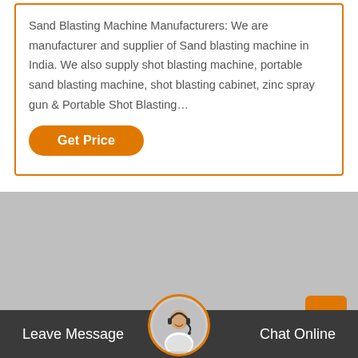Sand Blasting Machine Manufacturers: We are manufacturer and supplier of Sand blasting machine in India. We also supply shot blasting machine, portable sand blasting machine, shot blasting cabinet, zinc spray gun & Portable Shot Blasting…
[Figure (other): Orange 'Get Price' button with rounded pill shape]
[Figure (photo): Gray placeholder image area]
[Figure (other): Orange scroll-to-top button with double chevron up arrow]
[Figure (photo): Circular avatar photo of a female customer service representative wearing a headset, with an orange ring border]
Leave Message   Chat Online